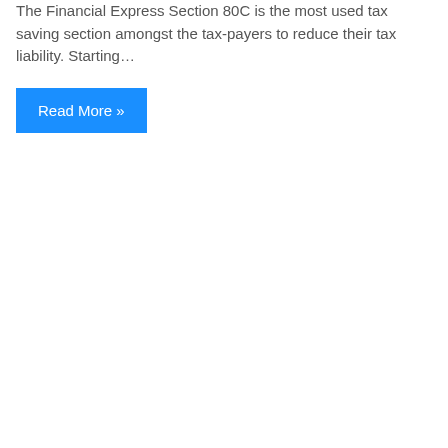The Financial Express Section 80C is the most used tax saving section amongst the tax-payers to reduce their tax liability. Starting…
Read More »